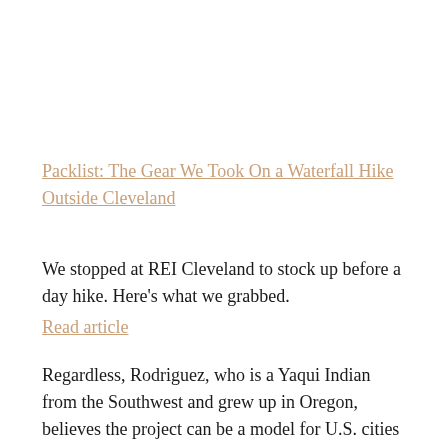Packlist: The Gear We Took On a Waterfall Hike Outside Cleveland
We stopped at REI Cleveland to stock up before a day hike. Here's what we grabbed.
Read article
Regardless, Rodriguez, who is a Yaqui Indian from the Southwest and grew up in Oregon, believes the project can be a model for U.S. cities looking to revitalize rivers once choked by industry, while